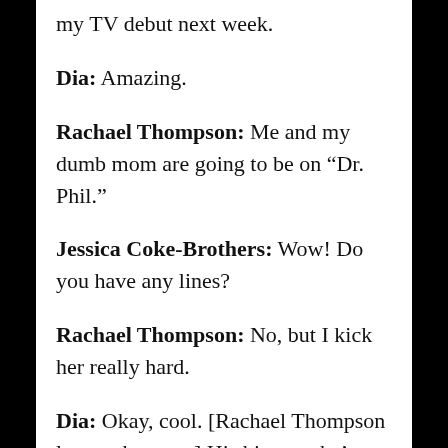my TV debut next week.
Dia: Amazing.
Rachael Thompson: Me and my dumb mom are going to be on “Dr. Phil.”
Jessica Coke-Brothers: Wow! Do you have any lines?
Rachael Thompson: No, but I kick her really hard.
Dia: Okay, cool. [Rachael Thompson leaves the stage] His bio says he’s got John Mayer’s face and Carrot Top’s “gutters.”